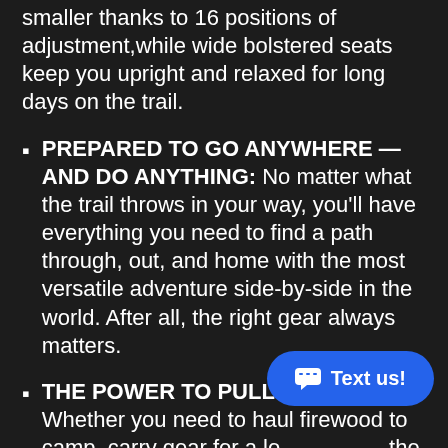smaller thanks to 16 positions of adjustment,while wide bolstered seats keep you upright and relaxed for long days on the trail.
PREPARED TO GO ANYWHERE — AND DO ANYTHING: No matter what the trail throws in your way, you'll have everything you need to find a path through, out, and home with the most versatile adventure side-by-side in the world. After all, the right gear always matters.
THE POWER TO PULL-BEHIND: Whether you need to haul firewood to camp, carry gear for a lo... the wild, drag logs off the trail or pull